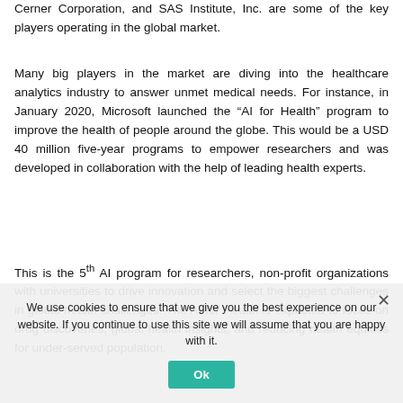Cerner Corporation, and SAS Institute, Inc. are some of the key players operating in the global market.
Many big players in the market are diving into the healthcare analytics industry to answer unmet medical needs. For instance, in January 2020, Microsoft launched the “AI for Health” program to improve the health of people around the globe. This would be a USD 40 million five-year programs to empower researchers and was developed in collaboration with the help of leading health experts.
This is the 5th AI program for researchers, non-profit organizations with universities to drive innovation and select the biggest challenges in global health challenges. The AI for Health is expected to focus on drug discoveries, global health insights, and reducing health equities for under-served population.
We use cookies to ensure that we give you the best experience on our website. If you continue to use this site we will assume that you are happy with it.